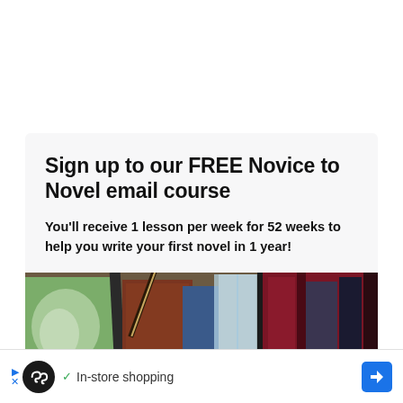Sign up to our FREE Novice to Novel email course
You'll receive 1 lesson per week for 52 weeks to help you write your first novel in 1 year!
[Figure (photo): A collection of books stacked and arranged, including a green illustrated cover, brown and dark spines, a glass/crystal award, and maroon books on a shelf]
In-store shopping